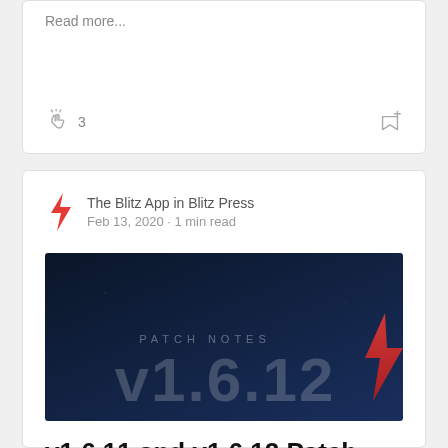Read more...
3
The Blitz App in Blitz Press
Feb 13, 2020 · 1 min read
[Figure (screenshot): Dark blue banner image showing 'PATCH NOTES' text and 'v1.6.12' in large white letters with a red lightning bolt logo on the right]
v1.6.11 and v1.6.12 Patch notes
We've updated to v1.6.12
General fixes